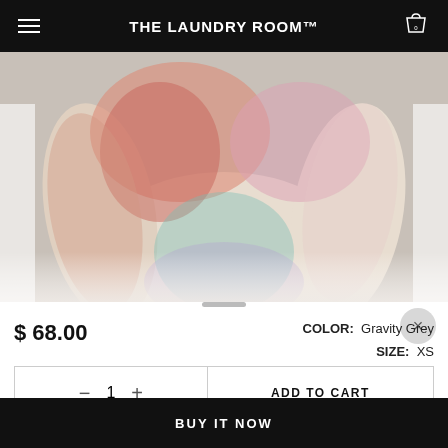THE LAUNDRY ROOM™
[Figure (photo): Tie-dye sweatshirt in pastel colors (pink, coral, teal, lavender) displayed on a white background, front view showing body and sleeves]
$ 68.00
COLOR:  Gravity Grey
SIZE:  XS
− 1 +
ADD TO CART
BUY IT NOW